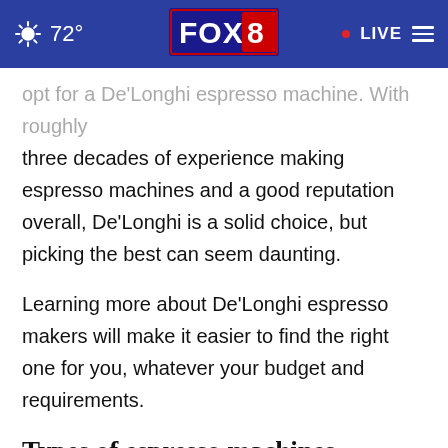72° FOX 8 LIVE
opt for a De'Longhi espresso machine. With roughly three decades of experience making espresso machines and a good reputation overall, De'Longhi is a solid choice, but picking the best can seem daunting.
Learning more about De'Longhi espresso makers will make it easier to find the right one for you, whatever your budget and requirements.
Types of espresso machines
De'Longhi makes two types of espresso machines: automatic and super-automatic.